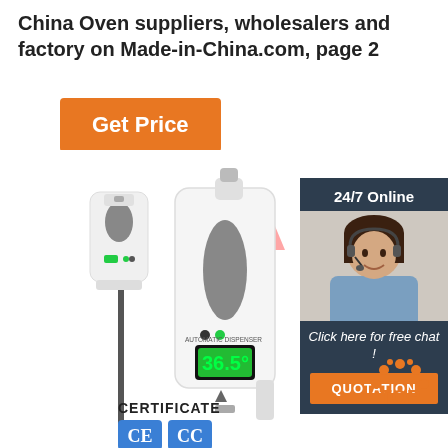China Oven suppliers, wholesalers and factory on Made-in-China.com, page 2
[Figure (other): Orange 'Get Price' button]
[Figure (other): Sidebar panel with '24/7 Online' header, customer service representative photo, 'Click here for free chat!' text, and orange 'QUOTATION' button on dark navy background]
[Figure (photo): Product photo: automatic hand sanitizer dispenser on a stand (left) and a thermometer automatic dispenser device showing 36.5 degrees on green LED display (right), with red infrared beam illustration]
CERTIFICATE
[Figure (other): CE and CC certification badge icons in blue]
[Figure (logo): TOP badge logo - orange dot pattern with TOP text]